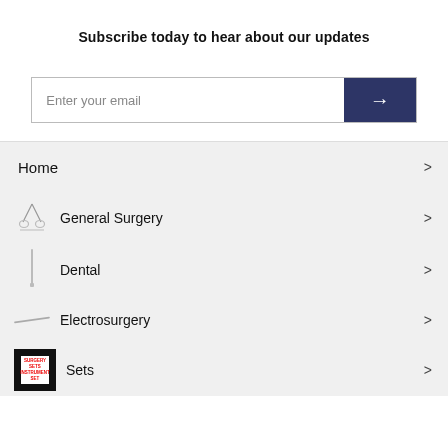Subscribe today to hear about our updates
Enter your email
Home
General Surgery
Dental
Electrosurgery
Sets